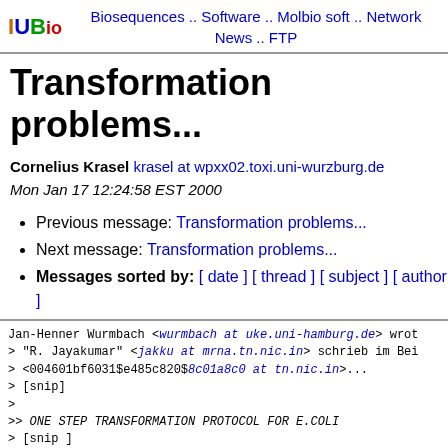IUBio  Biosequences .. Software .. Molbio soft .. Network News .. FTP
Transformation problems...
Cornelius Krasel krasel at wpxx02.toxi.uni-wurzburg.de Mon Jan 17 12:24:58 EST 2000
Previous message: Transformation problems...
Next message: Transformation problems...
Messages sorted by: [ date ] [ thread ] [ subject ] [ author ]
Jan-Henner Wurmbach <wurmbach at uke.uni-hamburg.de> wrote
> "R. Jayakumar" <jakku at mrna.tn.nic.in> schrieb im Be
> <004601bf6031$e485c820$8c01a8c0 at tn.nic.in>...
> [snip]
>
>>      ONE STEP TRANSFORMATION PROTOCOL FOR E.COLI
> [snip ]
>> 5. Take a 100ul aliquot and add DNA (around 10-20ng) a
>> 30min (we found that heat shock treatment gives less r
>> ice treatment).